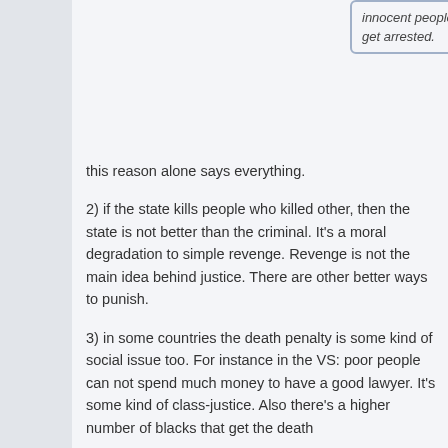innocent people do get arrested.
this reason alone says everything.
2) if the state kills people who killed other, then the state is not better than the criminal. It's a moral degradation to simple revenge. Revenge is not the main idea behind justice. There are other better ways to punish.
3) in some countries the death penalty is some kind of social issue too. For instance in the VS: poor people can not spend much money to have a good lawyer. It's some kind of class-justice. Also there's a higher number of blacks that get the death penalty than white.